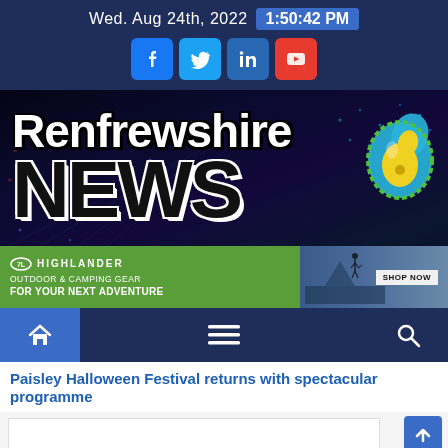Wed. Aug 24th, 2022  1:50:42 PM
[Figure (screenshot): Renfrewshire News website header banner with dark blue night-time event background, 'Renfrewshire NEWS' logo with paisley symbol, and Highlander outdoor gear advertisement]
[Figure (infographic): Navigation bar with home icon (blue box), hamburger menu icon, and search icon on dark blue background]
Paisley Halloween Festival returns with spectacular programme